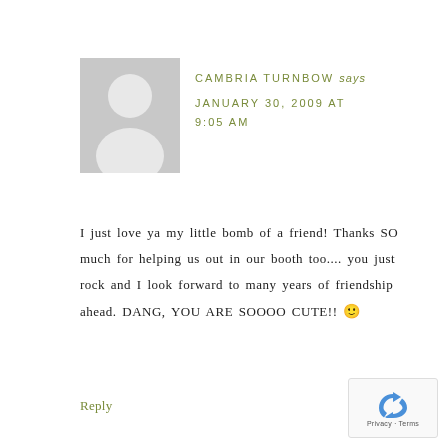[Figure (illustration): Grey placeholder avatar icon showing a silhouette of a person (head and shoulders) on a grey background]
CAMBRIA TURNBOW says
JANUARY 30, 2009 AT
9:05 AM
I just love ya my little bomb of a friend! Thanks SO much for helping us out in our booth too.... you just rock and I look forward to many years of friendship ahead. DANG, YOU ARE SOOOO CUTE!! 🙂
Reply